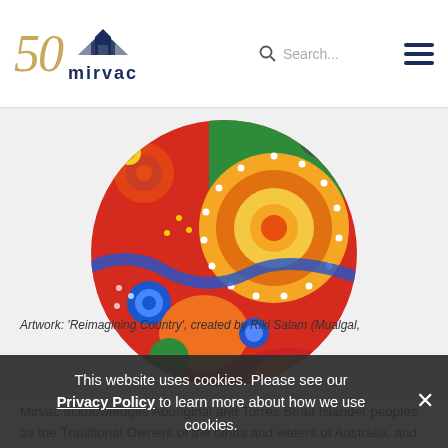50 mirvac | Search... | menu
[Figure (illustration): Circular Aboriginal artwork titled 'Reimagining Country' by Riki Salam (Mualgal, Kaurareg, Kuku Yalanji). Colorful circular design with traditional dot painting patterns in red, orange, blue, green, yellow colors.]
Mirvac acknowledges Aboriginal and Torres Strait Islander peoples as the Traditional Owners of the lands and waters of Australia, and we offer our respect to their Elders past and
Artwork: 'Reimagining Country', created by Riki Salam (Mualgal,
This website uses cookies. Please see our Privacy Policy to learn more about how we use cookies.